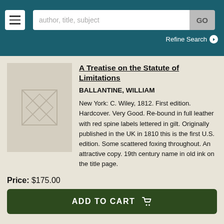author, title, subject  GO  Refine Search
[Figure (illustration): Placeholder book cover image with a geometric diamond/envelope design on a beige background]
A Treatise on the Statute of Limitations
BALLANTINE, WILLIAM
New York: C. Wiley, 1812. First edition. Hardcover. Very Good. Re-bound in full leather with red spine labels lettered in gilt. Originally published in the UK in 1810 this is the first U.S. edition. Some scattered foxing throughout. An attractive copy. 19th century name in old ink on the title page.
Price: $175.00
ADD TO CART